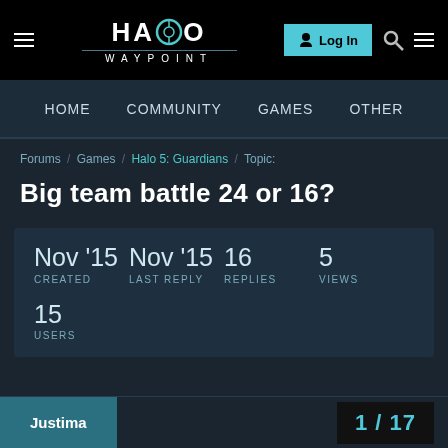[Figure (screenshot): Halo Waypoint website header with logo, Log In button, search icon, and hamburger menu on black background]
HOME  COMMUNITY  GAMES  OTHER
Forums / Games / Halo 5: Guardians / Topic:
Big team battle 24 or 16?
| CREATED | LAST REPLY | REPLIES | VIEWS |
| --- | --- | --- | --- |
| Nov '15 | Nov '15 | 16 | 5 |
15
USERS
Justima   1 / 17